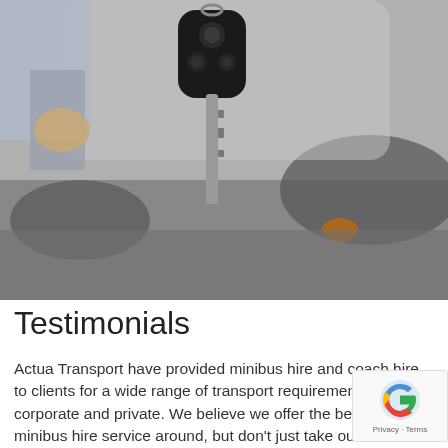[Figure (photo): A hand holding a car key dangling by its chain against a blurred background of a vehicle and parking lot.]
Testimonials
Actua Transport have provided minibus hire and coach hire to clients for a wide range of transport requirements, both corporate and private. We believe we offer the best coach minibus hire service around, but don't just take our word for it.